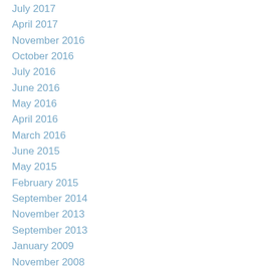July 2017
April 2017
November 2016
October 2016
July 2016
June 2016
May 2016
April 2016
March 2016
June 2015
May 2015
February 2015
September 2014
November 2013
September 2013
January 2009
November 2008
May 2007